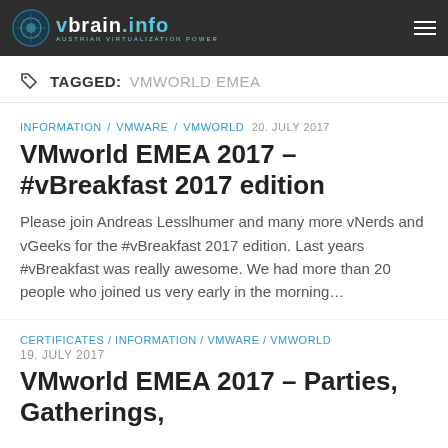vbrain.info — AUSTRIAN VIRTUALIZATION POWER
TAGGED: VMWORLD EMEA
INFORMATION / VMWARE / VMWORLD  20. JULY 2017
VMworld EMEA 2017 – #vBreakfast 2017 edition
Please join Andreas Lesslhumer and many more vNerds and vGeeks for the #vBreakfast 2017 edition. Last years #vBreakfast was really awesome. We had more than 20 people who joined us very early in the morning...
CERTIFICATES / INFORMATION / VMWARE / VMWORLD
19. JULY 2017
VMworld EMEA 2017 – Parties, Gatherings,